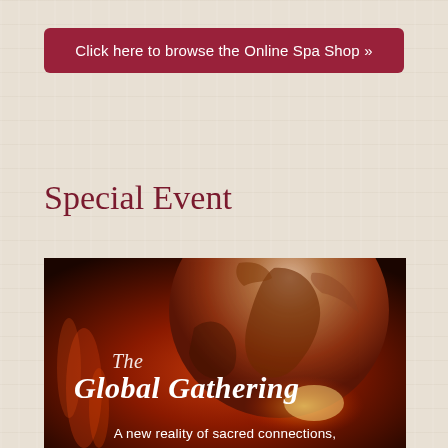Click here to browse the Online Spa Shop »
Special Event
[Figure (illustration): Promotional image for 'The Global Gathering' event showing a dramatic globe with warm glowing red-orange fire tones, with white script text reading 'The Global Gathering' and subtitle text 'A new reality of sacred connections,']